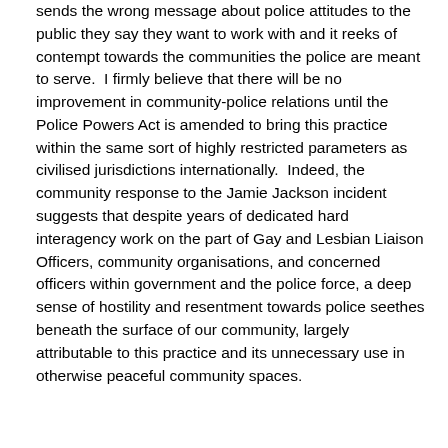sends the wrong message about police attitudes to the public they say they want to work with and it reeks of contempt towards the communities the police are meant to serve.  I firmly believe that there will be no improvement in community-police relations until the Police Powers Act is amended to bring this practice within the same sort of highly restricted parameters as civilised jurisdictions internationally.  Indeed, the community response to the Jamie Jackson incident suggests that despite years of dedicated hard interagency work on the part of Gay and Lesbian Liaison Officers, community organisations, and concerned officers within government and the police force, a deep sense of hostility and resentment towards police seethes beneath the surface of our community, largely attributable to this practice and its unnecessary use in otherwise peaceful community spaces.